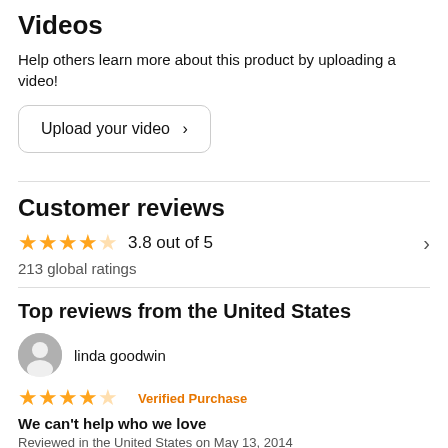Videos
Help others learn more about this product by uploading a video!
Upload your video >
Customer reviews
3.8 out of 5
213 global ratings
Top reviews from the United States
linda goodwin
Verified Purchase
We can't help who we love
Reviewed in the United States on May 13, 2014